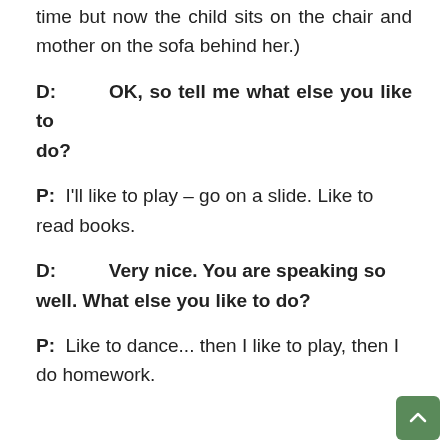time but now the child sits on the chair and mother on the sofa behind her.)
D:        OK, so tell me what else you like to do?
P:  I'll like to play – go on a slide. Like to read books.
D:           Very nice. You are speaking so well. What else you like to do?
P:  Like to dance... then I like to play, then I do homework.